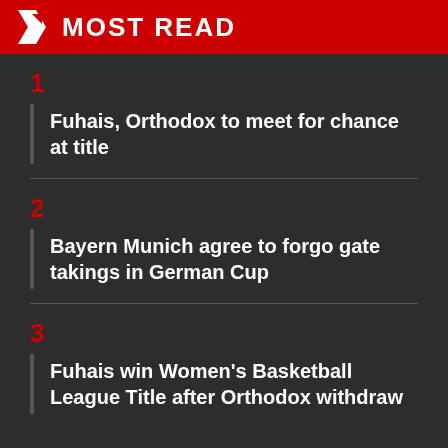MOST READ
1
Fuhais, Orthodox to meet for chance at title
2
Bayern Munich agree to forgo gate takings in German Cup
3
Fuhais win Women's Basketball League Title after Orthodox withdraw